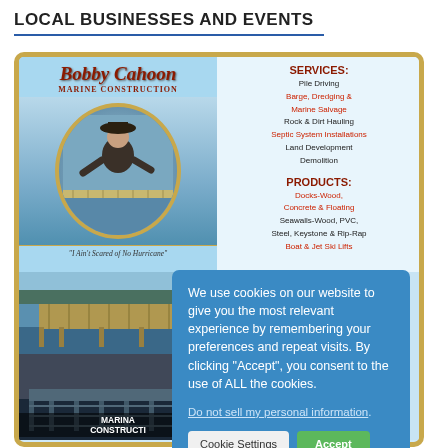LOCAL BUSINESSES AND EVENTS
[Figure (illustration): Bobby Cahoon Marine Construction advertisement card with logo, photo of person at dock, services and products list, and two dock/marina photos at bottom]
We use cookies on our website to give you the most relevant experience by remembering your preferences and repeat visits. By clicking “Accept”, you consent to the use of ALL the cookies. Do not sell my personal information.